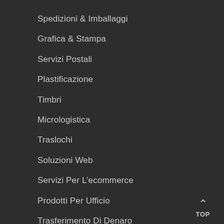Spedizioni & Imballaggi
Grafica & Stampa
Servizi Postali
Plastificazione
Timbri
Micrologistica
Traslochi
Soluzioni Web
Servizi Per L'ecommerce
Prodotti Per Ufficio
Trasferimento Di Denaro
TOP